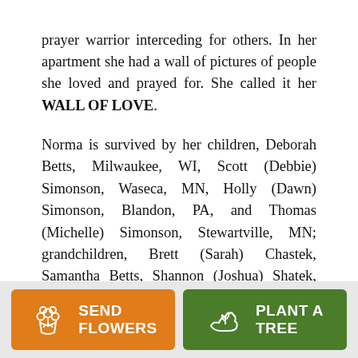prayer warrior interceding for others. In her apartment she had a wall of pictures of people she loved and prayed for. She called it her WALL OF LOVE.
Norma is survived by her children, Deborah Betts, Milwaukee, WI, Scott (Debbie) Simonson, Waseca, MN, Holly (Dawn) Simonson, Blandon, PA, and Thomas (Michelle) Simonson, Stewartville, MN; grandchildren, Brett (Sarah) Chastek, Samantha Betts, Shannon (Joshua) Shatek, Matt (Jilena) Simonson, Carla Simonson and Jena (Nick) Feltis; great grandchildren, Aliya Chastek, Lily Shatek, Wyatt and
[Figure (other): Two call-to-action buttons: 'SEND FLOWERS' on orange background with flower bouquet icon, and 'PLANT A TREE' on green background with seedling/hand icon.]